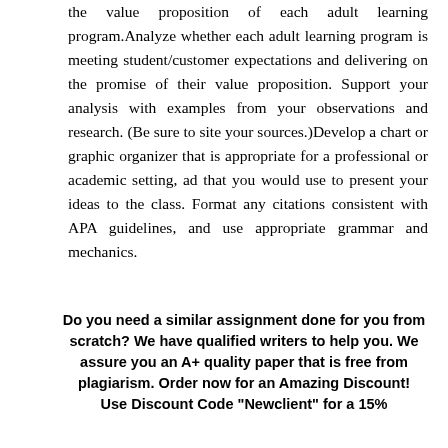the value proposition of each adult learning program.Analyze whether each adult learning program is meeting student/customer expectations and delivering on the promise of their value proposition. Support your analysis with examples from your observations and research. (Be sure to site your sources.)Develop a chart or graphic organizer that is appropriate for a professional or academic setting, ad that you would use to present your ideas to the class. Format any citations consistent with APA guidelines, and use appropriate grammar and mechanics.
Do you need a similar assignment done for you from scratch? We have qualified writers to help you. We assure you an A+ quality paper that is free from plagiarism. Order now for an Amazing Discount! Use Discount Code "Newclient" for a 15% Discount!